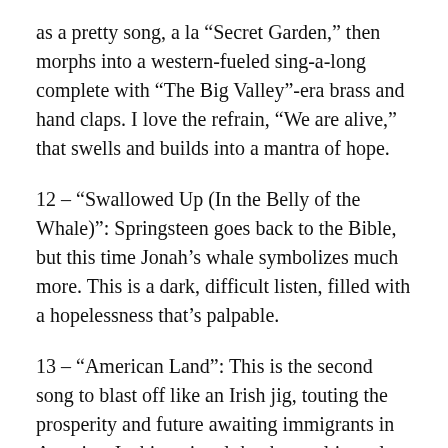as a pretty song, a la “Secret Garden,” then morphs into a western-fueled sing-a-long complete with “The Big Valley”-era brass and hand claps. I love the refrain, “We are alive,” that swells and builds into a mantra of hope.
12 – “Swallowed Up (In the Belly of the Whale)”: Springsteen goes back to the Bible, but this time Jonah’s whale symbolizes much more. This is a dark, difficult listen, filled with a hopelessness that’s palpable.
13 – “American Land”: This is the second song to blast off like an Irish jig, touting the prosperity and future awaiting immigrants in America. Is this a signal that hope ultimately